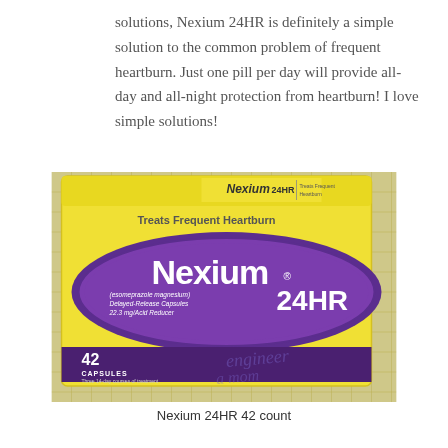solutions, Nexium 24HR is definitely a simple solution to the common problem of frequent heartburn. Just one pill per day will provide all-day and all-night protection from heartburn! I love simple solutions!
[Figure (photo): Photo of a yellow and purple box of Nexium 24HR (esomeprazole magnesium) Delayed-Release Capsules 22.3 mg/Acid Reducer, 42 Capsules. The box reads 'Treats Frequent Heartburn' at the top and features the Nexium 24HR logo on a purple oval. Text on the box includes '(esomeprazole magnesium) Delayed-Release Capsules 22.3 mg/Acid Reducer', '42 CAPSULES', 'Three 14-day courses of treatment'. A watermark reading 'engineer a mom' is visible. The box is placed on a woven surface.]
Nexium 24HR 42 count